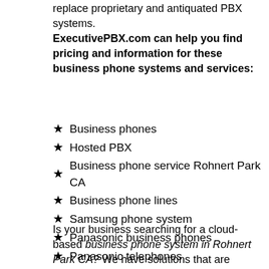replace proprietary and antiquated PBX systems.
ExecutivePBX.com can help you find pricing and information for these business phone systems and services:
Business phones
Hosted PBX
Business phone service Rohnert Park CA
Business phone lines
Samsung phone system
Panasonic business phones
Panasonic telephones
NEC phone systems
Is your business searching for a cloud-based business phone system in Rohnert Park CA? We have solutions that are available on any device and have voice, SMS, MMS, conferencing, video, group messaging, screen sharing and document sharing capabilities. Our phone dealers in Rohnert Park CA